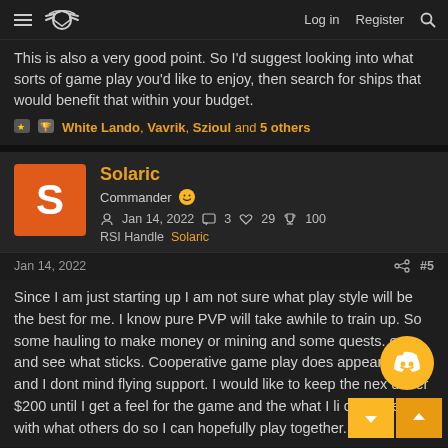Log in  Register
This is also a very good point. So I'd suggest looking into what sorts of game play you'd like to enjoy, then search for ships that would benefit that within your budget.
White Lando, Vavrik, Szioul and 5 others
Solaric
Commander
Jan 14, 2022  3  29  100
RSI Handle  Solaric
Jan 14, 2022  #5
Since I am just starting up I am not sure what play style will be the best for me. I know pure PVP will take awhile to train up. So some hauling to make money or mining and some quests. out and see what sticks. Cooperative game play does appear me and I dont mind flying support. I would like to keep the nex under $200 until I get a feel for the game and the what I li compared with what others do so I can hopefully play together.